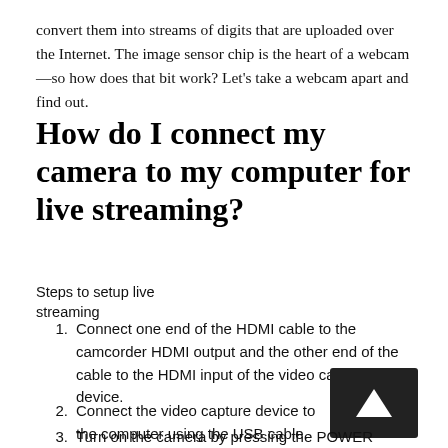convert them into streams of digits that are uploaded over the Internet. The image sensor chip is the heart of a webcam—so how does that bit work? Let's take a webcam apart and find out.
How do I connect my camera to my computer for live streaming?
Steps to setup live streaming
Connect one end of the HDMI cable to the camcorder HDMI output and the other end of the cable to the HDMI input of the video capture device.
Connect the video capture device to the computer using the USB cable.
Turn on the camera by pressing the POWER